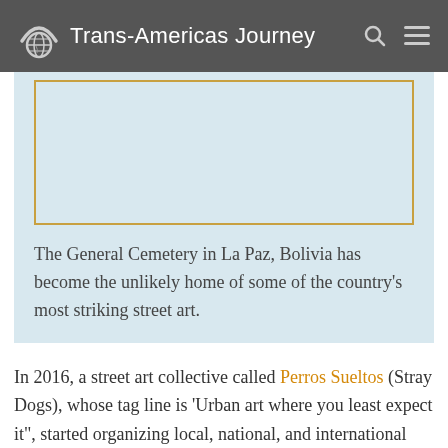Trans-Americas Journey
[Figure (photo): Placeholder image box with light blue background and orange border, representing a photo of the General Cemetery in La Paz, Bolivia with street art.]
The General Cemetery in La Paz, Bolivia has become the unlikely home of some of the country's most striking street art.
In 2016, a street art collective called Perros Sueltos (Stray Dogs), whose tag line is ‘Urban art where you least expect it”, started organizing local, national, and international street artists to paint on the many